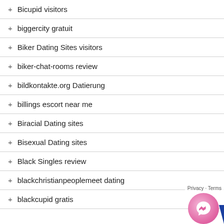+ Bicupid visitors
+ biggercity gratuit
+ Biker Dating Sites visitors
+ biker-chat-rooms review
+ bildkontakte.org Datierung
+ billings escort near me
+ Biracial Dating sites
+ Bisexual Dating sites
+ Black Singles review
+ blackchristianpeoplemeet dating
+ blackcupid gratis